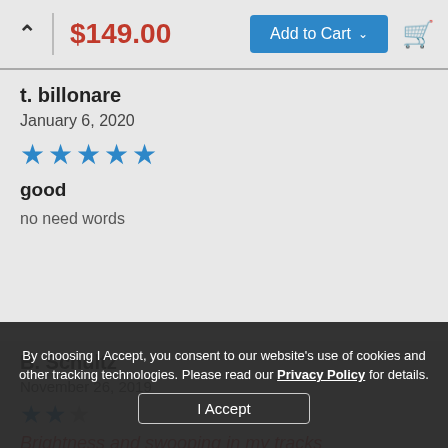$149.00  Add to Cart
t. billonare
January 6, 2020
[Figure (other): 5-star rating shown as 5 blue stars]
good
no need words
B. Schultz
Brightness and swooping in my tracks
The Neve 1073 Preamp is outstanding in terms of brightness in the knees, waves and vocal response to...
By choosing I Accept, you consent to our website's use of cookies and other tracking technologies. Please read our Privacy Policy for details.
I Accept